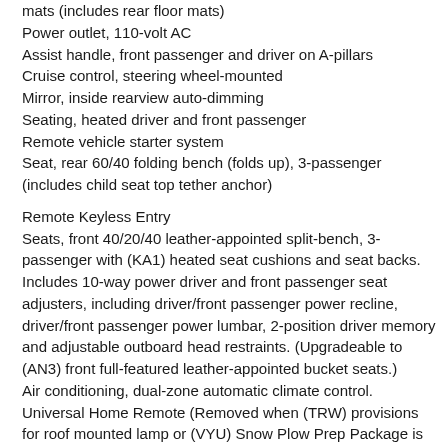mats (includes rear floor mats)
Power outlet, 110-volt AC
Assist handle, front passenger and driver on A-pillars
Cruise control, steering wheel-mounted
Mirror, inside rearview auto-dimming
Seating, heated driver and front passenger
Remote vehicle starter system
Seat, rear 60/40 folding bench (folds up), 3-passenger (includes child seat top tether anchor)
Remote Keyless Entry
Seats, front 40/20/40 leather-appointed split-bench, 3-passenger with (KA1) heated seat cushions and seat backs. Includes 10-way power driver and front passenger seat adjusters, including driver/front passenger power recline, driver/front passenger power lumbar, 2-position driver memory and adjustable outboard head restraints. (Upgradeable to (AN3) front full-featured leather-appointed bucket seats.)
Air conditioning, dual-zone automatic climate control.
Universal Home Remote (Removed when (TRW) provisions for roof mounted lamp or (VYU) Snow Plow Prep Package is ordered.)
Instrumentation, 6-gauge cluster featuring speedometer, fuel